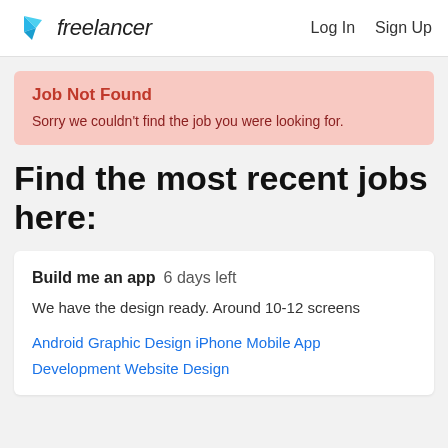freelancer  Log In  Sign Up
Job Not Found
Sorry we couldn't find the job you were looking for.
Find the most recent jobs here:
Build me an app  6 days left
We have the design ready. Around 10-12 screens
Android  Graphic Design  iPhone  Mobile App Development  Website Design